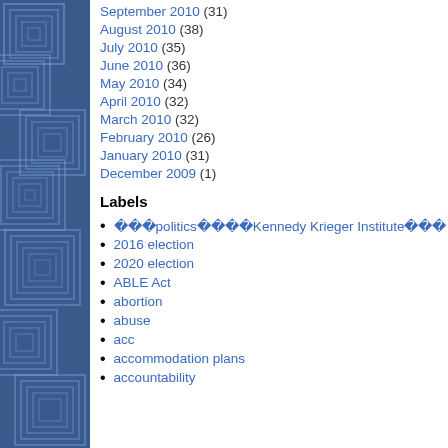September 2010 (31)
August 2010 (38)
July 2010 (35)
June 2010 (36)
May 2010 (34)
April 2010 (32)
March 2010 (32)
February 2010 (26)
January 2010 (31)
December 2009 (1)
Labels
politics  Kennedy Krieger Institute  government  medical resea…
2016 election
2020 election
ABLE Act
abortion
abuse
acc
accommodation plans
accountability